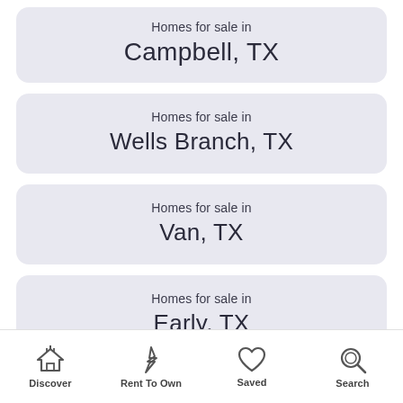Homes for sale in Campbell, TX
Homes for sale in Wells Branch, TX
Homes for sale in Van, TX
Homes for sale in Early, TX
Homes for sale in Bullard, TX
Discover | Rent To Own | Saved | Search